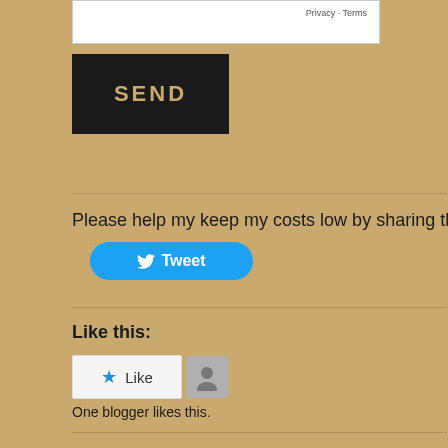Privacy - Terms
[Figure (screenshot): Black SEND button with tan/gold colored text]
Please help my keep my costs low by sharing this
[Figure (screenshot): Blue Twitter Tweet button with bird icon]
Like this:
[Figure (screenshot): WordPress Like widget with star icon and Like button, plus avatar placeholder]
One blogger likes this.